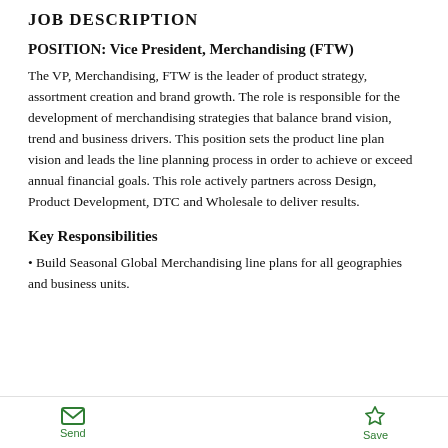JOB DESCRIPTION
POSITION: Vice President, Merchandising (FTW)
The VP, Merchandising, FTW is the leader of product strategy, assortment creation and brand growth. The role is responsible for the development of merchandising strategies that balance brand vision, trend and business drivers. This position sets the product line plan vision and leads the line planning process in order to achieve or exceed annual financial goals. This role actively partners across Design, Product Development, DTC and Wholesale to deliver results.
Key Responsibilities
Build Seasonal Global Merchandising line plans for all geographies and business units.